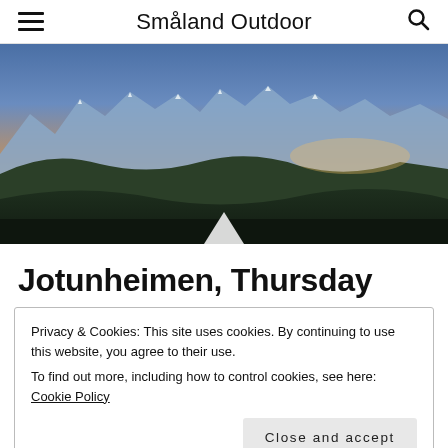Småland Outdoor
[Figure (photo): Panoramic mountain landscape at sunset/dusk with snow-capped peaks, dark forested hills in the foreground, orange and blue sky, and a white tent visible at the bottom center.]
Jotunheimen, Thursday
Privacy & Cookies: This site uses cookies. By continuing to use this website, you agree to their use.
To find out more, including how to control cookies, see here: Cookie Policy
Close and accept